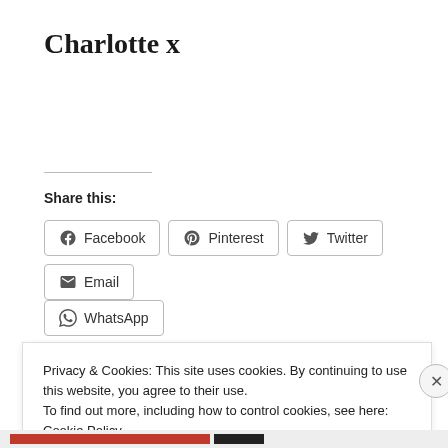Charlotte x
Share this:
Facebook  Pinterest  Twitter  Email  WhatsApp
Privacy & Cookies: This site uses cookies. By continuing to use this website, you agree to their use.
To find out more, including how to control cookies, see here:
Cookie Policy
Close and accept